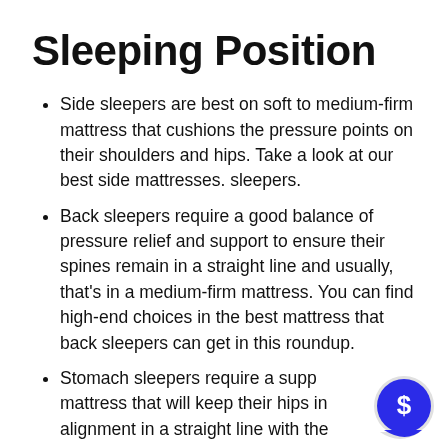Sleeping Position
Side sleepers are best on soft to medium-firm mattress that cushions the pressure points on their shoulders and hips. Take a look at our best side mattresses. sleepers.
Back sleepers require a good balance of pressure relief and support to ensure their spines remain in a straight line and usually, that’s in a medium-firm mattress. You can find high-end choices in the best mattress that back sleepers can get in this roundup.
Stomach sleepers require a supportive mattress that will keep their hips in alignment in a straight line with the